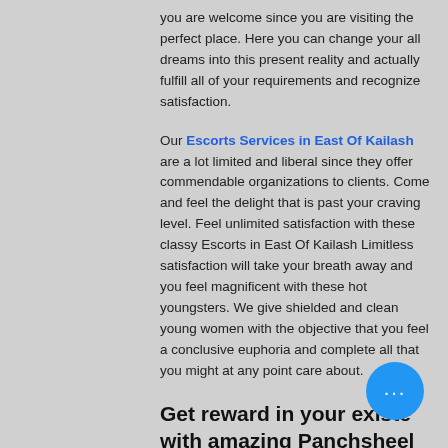you are welcome since you are visiting the perfect place. Here you can change your all dreams into this present reality and actually fulfill all of your requirements and recognize satisfaction.
Our Escorts Services in East Of Kailash are a lot limited and liberal since they offer commendable organizations to clients. Come and feel the delight that is past your craving level. Feel unlimited satisfaction with these classy Escorts in East Of Kailash Limitless satisfaction will take your breath away and you feel magnificent with these hot youngsters. We give shielded and clean young women with the objective that you feel a conclusive euphoria and complete all that you might at any point care about.
Get reward in your existe... with amazing Panchsheel